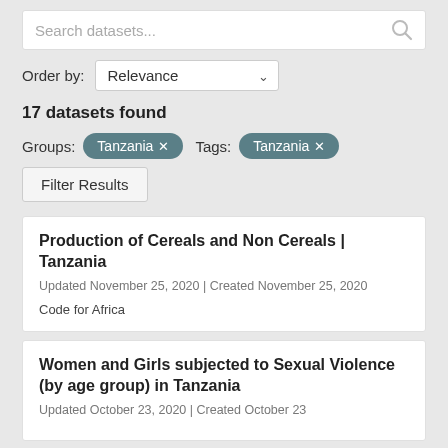Search datasets...
Order by: Relevance
17 datasets found
Groups: Tanzania × Tags: Tanzania ×
Filter Results
Production of Cereals and Non Cereals | Tanzania
Updated November 25, 2020 | Created November 25, 2020
Code for Africa
Women and Girls subjected to Sexual Violence (by age group) in Tanzania
Updated October 23, 2020 | Created October 23